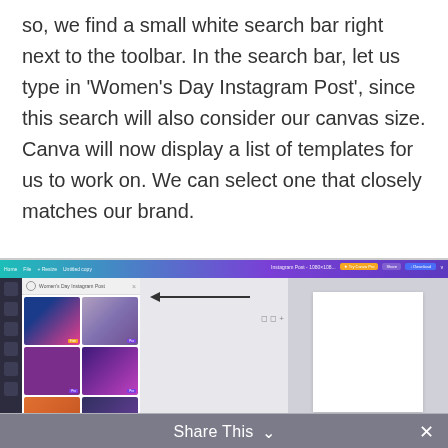so, we find a small white search bar right next to the toolbar. In the search bar, let us type in 'Women's Day Instagram Post', since this search will also consider our canvas size. Canva will now display a list of templates for us to work on. We can select one that closely matches our brand.
[Figure (screenshot): Screenshot of Canva interface showing the template search results for 'Women's Day Instagram Post' with various colorful social media templates displayed in a grid on the left panel, an arrow pointing to the search bar, and a blank canvas area on the right.]